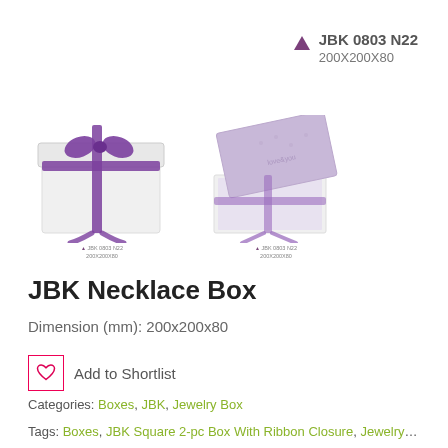[Figure (photo): Product label with purple triangle icon, bold text 'JBK 0803 N22' and dimension '200X200X80' on the top right]
[Figure (photo): Two product images of white jewelry/necklace boxes with purple ribbon, one closed and one open with purple interior lid, each with small label below]
JBK Necklace Box
Dimension (mm): 200x200x80
Add to Shortlist
Categories: Boxes, JBK, Jewelry Box
Tags: Boxes, JBK Square 2-pc Box With Ribbon Closure, Jewelry Box,